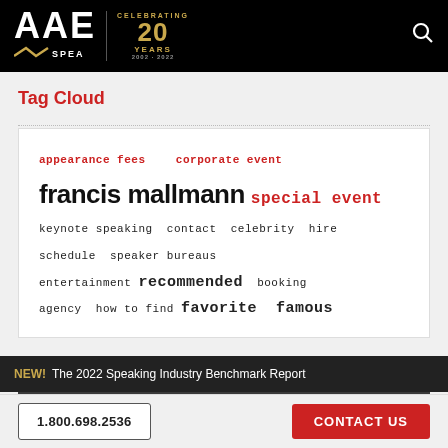AAE SPEAKERS — Celebrating 20 Years
Tag Cloud
appearance fees  corporate event  francis mallmann  special event  keynote speaking  contact  celebrity  hire  schedule  speaker bureaus  entertainment  recommended  booking  agency  how to find  favorite  famous
NEW!  The 2022 Speaking Industry Benchmark Report
1.800.698.2536   CONTACT US